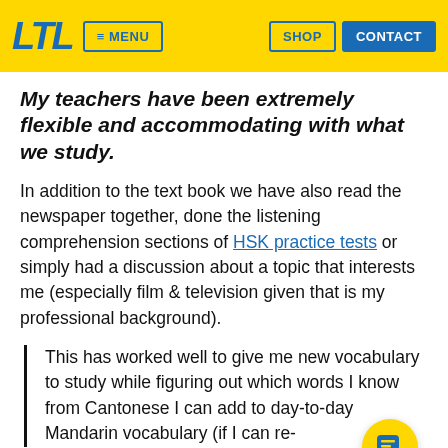LTL  ≡ MENU  SHOP  CONTACT
My teachers have been extremely flexible and accommodating with what we study.
In addition to the text book we have also read the newspaper together, done the listening comprehension sections of HSK practice tests or simply had a discussion about a topic that interests me (especially film & television given that is my professional background).
This has worked well to give me new vocabulary to study while figuring out which words I know from Cantonese I can add to day-to-day Mandarin vocabulary (if I can re-